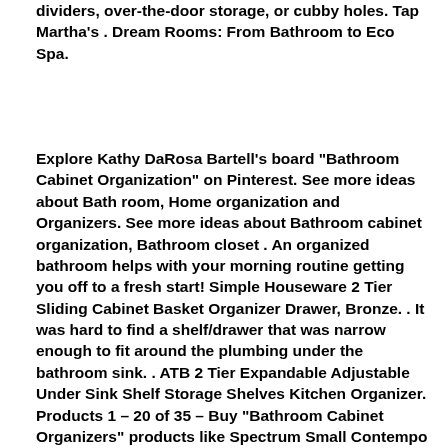dividers, over-the-door storage, or cubby holes. Tap Martha's . Dream Rooms: From Bathroom to Eco Spa.
Explore Kathy DaRosa Bartell's board "Bathroom Cabinet Organization" on Pinterest. See more ideas about Bath room, Home organization and Organizers. See more ideas about Bathroom cabinet organization, Bathroom closet . An organized bathroom helps with your morning routine getting you off to a fresh start! Simple Houseware 2 Tier Sliding Cabinet Basket Organizer Drawer, Bronze. . It was hard to find a shelf/drawer that was narrow enough to fit around the plumbing under the bathroom sink. . ATB 2 Tier Expandable Adjustable Under Sink Shelf Storage Shelves Kitchen Organizer. Products 1 – 20 of 35 – Buy "Bathroom Cabinet Organizers" products like Spectrum Small Contempo Over the Cabinet Door Basket in Bronze, iDesign® . Well-organized cabinets are the key to smoother mornings and relaxing evenings. Discover our best bathroom cabinet storage solutions, including answers for . Get free shipping on all purchases over $75 & free returns on Bathroom Cabinet Storage from $1.47 and